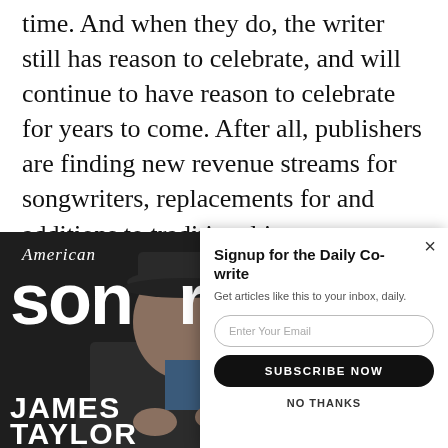time. And when they do, the writer still has reason to celebrate, and will continue to have reason to celebrate for years to come. After all, publishers are finding new revenue streams for songwriters, replacements for and additions to traditional income sources. I previously talked to my friend Troy Tomlinson, and he gave me a pretty good fix on the
[Figure (screenshot): American Songwriter magazine cover featuring James Taylor in a suit and flat cap, with sidebar text: RU WAINWR, TAM IMPAL, JUSTI TRANTER, NATHAN RATEL. The cover shows the magazine logo 'American Songwriter' in large bold letters.]
[Figure (screenshot): Email signup modal popup with title 'Signup for the Daily Co-write', subtitle 'Get articles like this to your inbox, daily.', an email input field, a black 'SUBSCRIBE NOW' button, and a 'NO THANKS' link. A close (X) button is in the top right.]